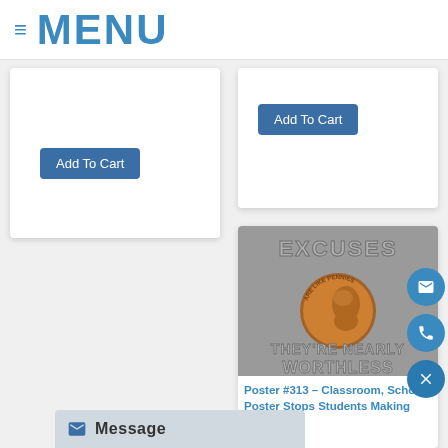≡ MENU
[Figure (screenshot): Partial product card with Add To Cart button (left)]
[Figure (screenshot): Partial product card with Add To Cart button (top right)]
[Figure (photo): Poster #313 showing 'EXCUSES ARE LIKE PENNIES THEY'RE NEARLY WORTHLESS' with a penny coin image on gray embossed background]
Poster #313 – Classroom, School Poster Stops Students Making Excuses